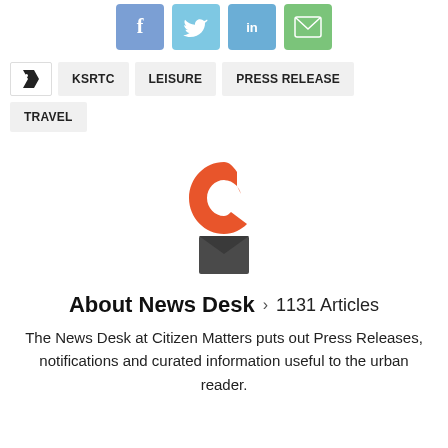[Figure (infographic): Social media share buttons: Facebook (blue), Twitter (light blue), LinkedIn (blue), Email (green)]
KSRTC
LEISURE
PRESS RELEASE
TRAVEL
[Figure (logo): Citizen Matters logo: orange C-shape on top, dark grey inverted triangle/envelope shape below]
About News Desk  >  1131 Articles
The News Desk at Citizen Matters puts out Press Releases, notifications and curated information useful to the urban reader.